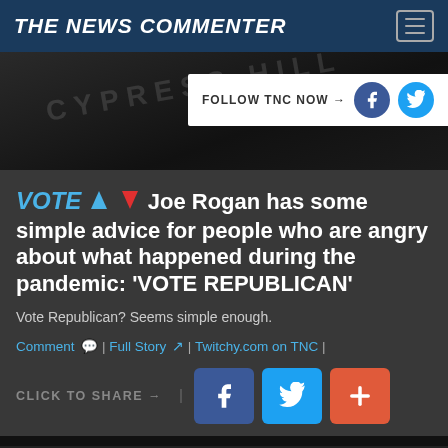THE NEWS COMMENTER
[Figure (screenshot): Dark hero image with Cypress Hill text watermark and FOLLOW TNC NOW social bar with Facebook and Twitter icons]
VOTE ↑ ↓ Joe Rogan has some simple advice for people who are angry about what happened during the pandemic: 'VOTE REPUBLICAN'
Vote Republican? Seems simple enough.
Comment | Full Story | Twitchy.com on TNC |
CLICK TO SHARE →